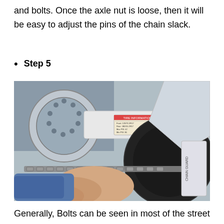and bolts. Once the axle nut is loose, then it will be easy to adjust the pins of the chain slack.
Step 5
[Figure (photo): Close-up photograph of a person's hand working on a motorcycle chain near the rear wheel. The image shows the chain, sprocket, swingarm, brake disc, and various mechanical components of the motorcycle's rear wheel assembly. A tire information sticker is visible on the swingarm.]
Generally, Bolts can be seen in most of the street